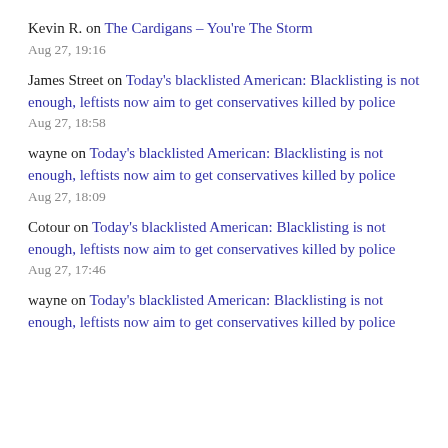Kevin R. on The Cardigans – You're The Storm
Aug 27, 19:16
James Street on Today's blacklisted American: Blacklisting is not enough, leftists now aim to get conservatives killed by police
Aug 27, 18:58
wayne on Today's blacklisted American: Blacklisting is not enough, leftists now aim to get conservatives killed by police
Aug 27, 18:09
Cotour on Today's blacklisted American: Blacklisting is not enough, leftists now aim to get conservatives killed by police
Aug 27, 17:46
wayne on Today's blacklisted American: Blacklisting is not enough, leftists now aim to get conservatives killed by police